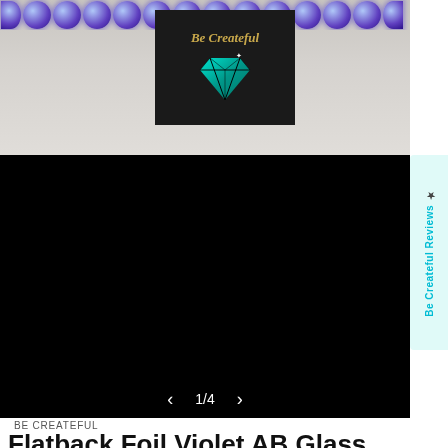[Figure (photo): Top banner showing purple/violet AB glass flatback rhinestones along the top edge with a Be Createful diamond logo in teal on a dark background, set against a light grey/white textured surface.]
[Figure (photo): Main product image area — black/dark background showing product (rhinestones), with image carousel navigation showing 1/4 and left/right arrows.]
BE CREATEFUL
Flatback Foil Violet AB Glass